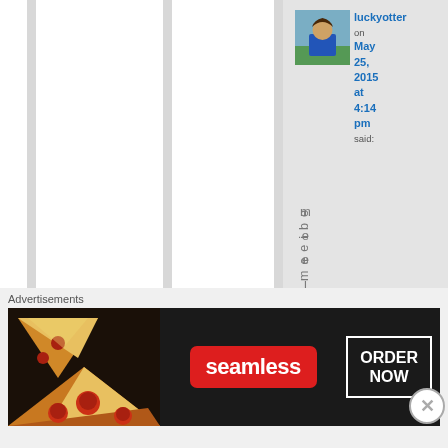[Figure (screenshot): Blog comment section with vertical striped column layout. User 'luckyotter' avatar (woman in blue outdoors), username in blue, date May 25, 2015 at 4:14 pm in blue, 'said:' text, and vertical text 'me e i t h e' below.]
luckyotter
on May 25, 2015 at 4:14 pm said:
m e e i t h e
Advertisements
[Figure (screenshot): Seamless food delivery advertisement banner showing pizza slices on left, Seamless red pill logo in center, 'ORDER NOW' button on right, dark background.]